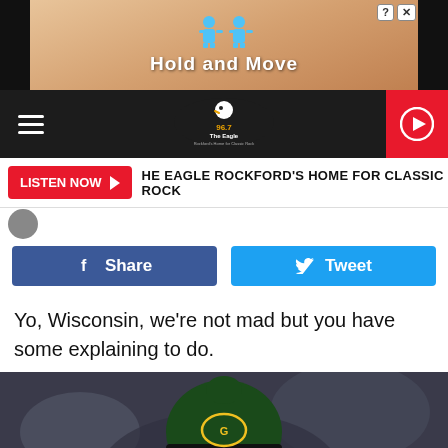[Figure (screenshot): Advertisement banner: 'Hold and Move' with two blue cartoon figures on a sandy/wood background]
96.7 The Eagle - Rockford's Home for Classic Rock
LISTEN NOW ▶  HE EAGLE ROCKFORD'S HOME FOR CLASSIC ROCK
[Figure (other): Facebook Share button and Twitter Tweet button side by side]
Yo, Wisconsin, we're not mad but you have some explaining to do.
[Figure (photo): Man wearing a Green Bay Packers beanie hat looking upward, blurred stadium background]